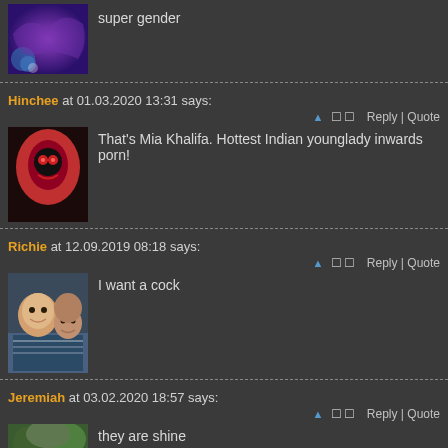super gender
Hinchee at 01.03.2020 13:31 says:
Reply | Quote
That's Mia Khalifa. Hottest Indian younglady inwards porn!
Richie at 12.09.2019 08:18 says:
Reply | Quote
I want a cock
Jeremiah at 03.02.2020 18:57 says:
Reply | Quote
they are shine